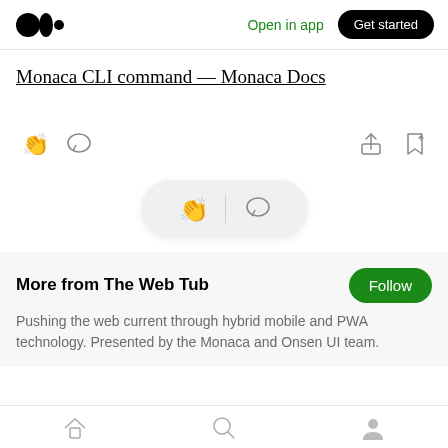Medium logo | Open in app | Get started
Monaca CLI command — Monaca Docs
[Figure (screenshot): Article action bar with clap icon, comment icon on left; share and bookmark icons on right]
[Figure (screenshot): Floating pill with clap icon and comment icon]
More from The Web Tub
Pushing the web current through hybrid mobile and PWA technology. Presented by the Monaca and Onsen UI team.
Bottom navigation: Home, Search, Profile